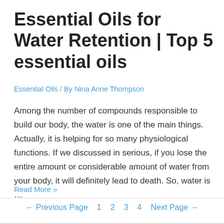Essential Oils for Water Retention | Top 5 essential oils
Essential Oils / By Nina Anne Thompson
Among the number of compounds responsible to build our body, the water is one of the main things. Actually, it is helping for so many physiological functions. If we discussed in serious, if you lose the entire amount or considerable amount of water from your body, it will definitely lead to death. So, water is …
Read More »
← Previous Page   1   2   3   4   Next Page →